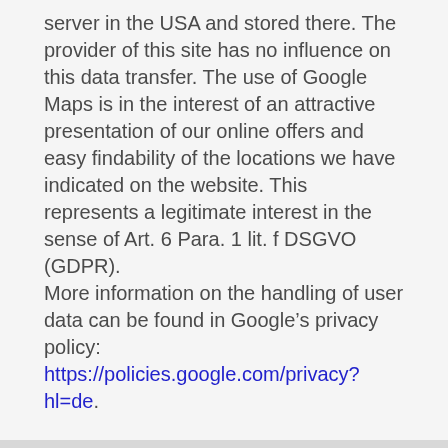server in the USA and stored there. The provider of this site has no influence on this data transfer. The use of Google Maps is in the interest of an attractive presentation of our online offers and easy findability of the locations we have indicated on the website. This represents a legitimate interest in the sense of Art. 6 Para. 1 lit. f DSGVO (GDPR).
More information on the handling of user data can be found in Google’s privacy policy:
https://policies.google.com/privacy?hl=de.